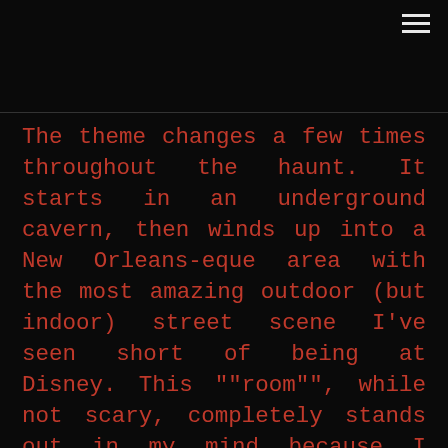The theme changes a few times throughout the haunt. It starts in an underground cavern, then winds up into a New Orleans-eque area with the most amazing outdoor (but indoor) street scene I've seen short of being at Disney. This ""room"", while not scary, completely stands out in my mind because I remember being absolutely flabbergasted at how well done it was. If we had an award for most authentic scenery, it would win.
You'll also go through a pretty lengthy zombie infestation. This area by far has the most contact involved. At any one time there